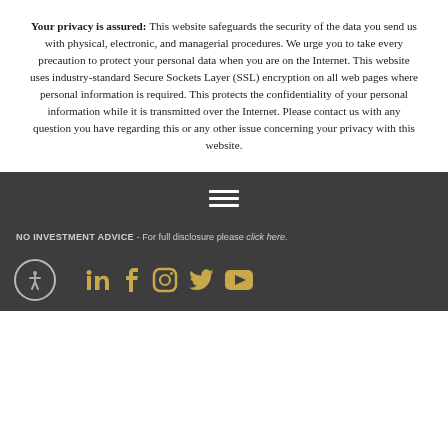Your privacy is assured: This website safeguards the security of the data you send us with physical, electronic, and managerial procedures. We urge you to take every precaution to protect your personal data when you are on the Internet. This website uses industry-standard Secure Sockets Layer (SSL) encryption on all web pages where personal information is required. This protects the confidentiality of your personal information while it is transmitted over the Internet. Please contact us with any question you have regarding this or any other issue concerning your privacy with this website.
[Figure (other): Hamburger menu icon (three horizontal white lines) in dark footer]
NO INVESTMENT ADVICE - For full disclosure please click here.
[Figure (other): Social media icons row: accessibility icon (person in circle), LinkedIn, Facebook, Instagram, Twitter/X, YouTube — all in gold/amber color on dark background]